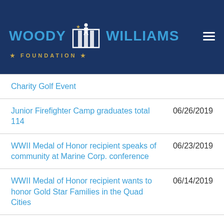[Figure (logo): Woody Williams Foundation logo on dark navy blue header bar with hamburger menu icon]
Charity Golf Event
Junior Firefighter Camp graduates total 114	06/26/2019
WWII Medal of Honor recipient speaks of community at Marine Corp. conference	06/23/2019
WWII Medal of Honor recipient wants to honor Gold Star Families in the Quad Cities	06/14/2019